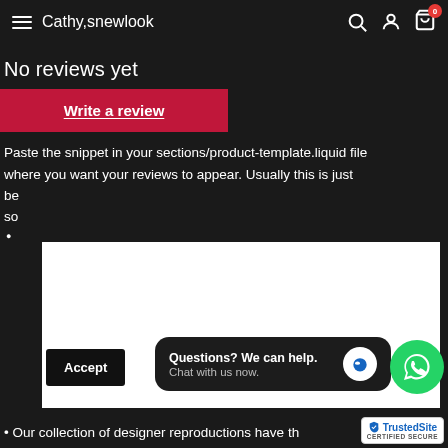Cathy,snewlook
No reviews yet
Write a review
Paste the snippet in your sections/product-template.liquid file where you want your reviews to appear. Usually this is just be so
[Figure (screenshot): White overlay panel obscuring part of the content]
Accept
Questions? We can help. Chat with us now.
[Figure (logo): WhatsApp green circle icon]
[Figure (logo): TrustedSite certified secure badge]
Our collection of designer reproductions have th